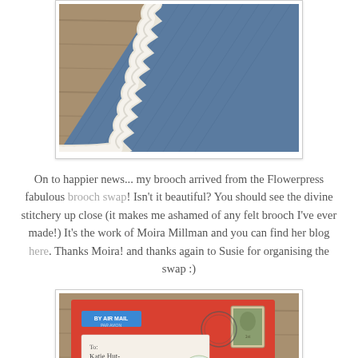[Figure (photo): Close-up photo of denim fabric with white crochet/knit border edge, on wooden surface background]
On to happier news... my brooch arrived from the Flowerpress fabulous brooch swap! Isn't it beautiful? You should see the divine stitchery up close (it makes me ashamed of any felt brooch I've ever made!) It's the work of Moira Millman and you can find her blog here. Thanks Moira! and thanks again to Susie for organising the swap :)
[Figure (photo): Photo of a red envelope/airmail package with a blue airmail sticker, a UK postage stamp, and a handwritten address label to Katie Hunt, with a decorative sticker showing two hearts]